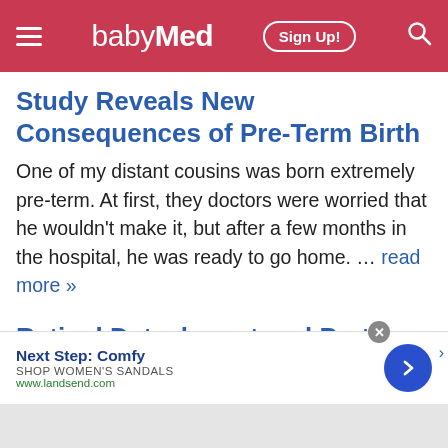babyMed — Sign Up! (navigation header)
Study Reveals New Consequences of Pre-Term Birth
One of my distant cousins was born extremely pre-term. At first, they doctors were worried that he wouldn't make it, but after a few months in the hospital, he was ready to go home. … read more »
Retinal Detachment and Preterm Birth
Though his story shows that extremely preterm children can lead healthy lives despite their
[Figure (screenshot): Advertisement banner: Next Step: Comfy — SHOP WOMEN'S SANDALS — www.landsend.com with a blue circular arrow button and close (x) button]